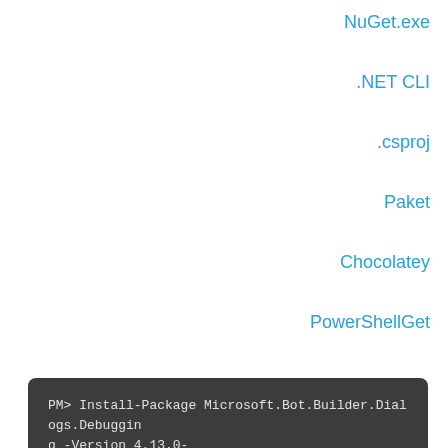NuGet.exe
.NET CLI
.csproj
Paket
Chocolatey
PowerShellGet
PM> Install-Package Microsoft.Bot.Builder.Dialogs.Debugging -Version 4.13.0-daily.preview.20210329.228580.75a62c3 -Source https://botbuilder.myget.org/F/botbuilder-v4-dotnet-daily/api/v3/index.json